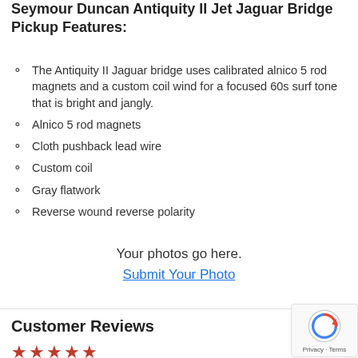Seymour Duncan Antiquity II Jet Jaguar Bridge Pickup Features:
The Antiquity II Jaguar bridge uses calibrated alnico 5 rod magnets and a custom coil wind for a focused 60s surf tone that is bright and jangly.
Alnico 5 rod magnets
Cloth pushback lead wire
Custom coil
Gray flatwork
Reverse wound reverse polarity
Your photos go here.
Submit Your Photo
Customer Reviews